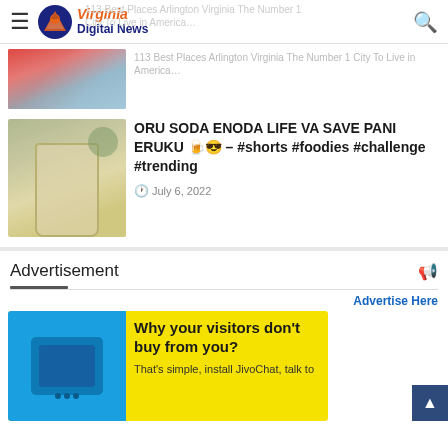Virginia Digital News
113 Best Places Arlington Virginia The Number 1 City To Live in America…
[Figure (photo): Partial photo of a man in blue shirt, cropped at top]
[Figure (photo): Photo of a soda drink in a clear cup with ice]
ORU SODA ENODA LIFE VA SAVE PANI ERUKU 🍺😎 – #shorts #foodies #challenge #trending
July 6, 2022
Advertisement
Advertise Here
[Figure (screenshot): JivoChat advertisement banner with yellow background showing text: Why your visitors don't buy from you? That's simple, install JivoChat, talk to]